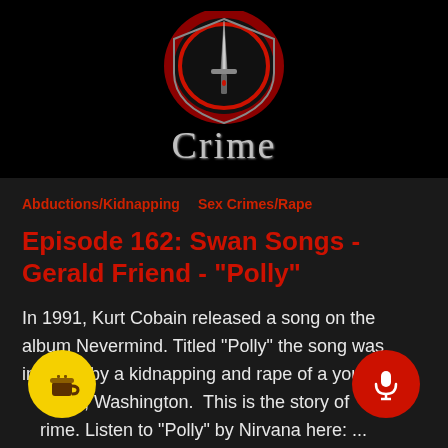[Figure (logo): Shield logo with a dagger/sword through it, red and black design, above the word 'Crime' in ornate gothic/serif silver font]
Abductions/Kidnapping
Sex Crimes/Rape
Episode 162: Swan Songs - Gerald Friend - "Polly"
In 1991, Kurt Cobain released a song on the album Nevermind. Titled "Polly" the song was inspired by a kidnapping and rape of a young girl ...oma, Washington.  This is the story of ...rime. Listen to "Polly" by Nirvana here: ...